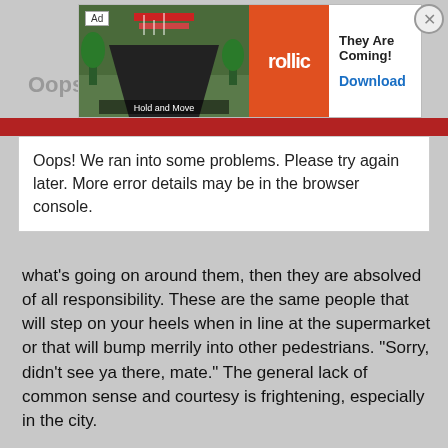[Figure (screenshot): Advertisement banner for 'They Are Coming!' game by Rollic, showing game image and Download button]
Oops! We ran into some problems. Please try again later. More error details may be in the browser console.
what's going on around them, then they are absolved of all responsibility. These are the same people that will step on your heels when in line at the supermarket or that will bump merrily into other pedestrians. "Sorry, didn't see ya there, mate." The general lack of common sense and courtesy is frightening, especially in the city.
JHZR2
Staff member
Aug 13, 2006
#15
I can understand wanting music to pass the time... but thats when youre inside on the rowing machine, bike or treadmill... when woure outside, you dont need music to keep going, there is scenery and lots to see to keep you into it. 1 more reason to